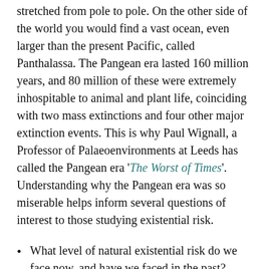stretched from pole to pole. On the other side of the world you would find a vast ocean, even larger than the present Pacific, called Panthalassa. The Pangean era lasted 160 million years, and 80 million of these were extremely inhospitable to animal and plant life, coinciding with two mass extinctions and four other major extinction events. This is why Paul Wignall, a Professor of Palaeoenvironments at Leeds has called the Pangean era 'The Worst of Times'. Understanding why the Pangean era was so miserable helps inform several questions of interest to those studying existential risk.
What level of natural existential risk do we face now, and have we faced in the past?
What is the threat of super-volcanic eruptions?
How much existential risk does anthropogenic climate